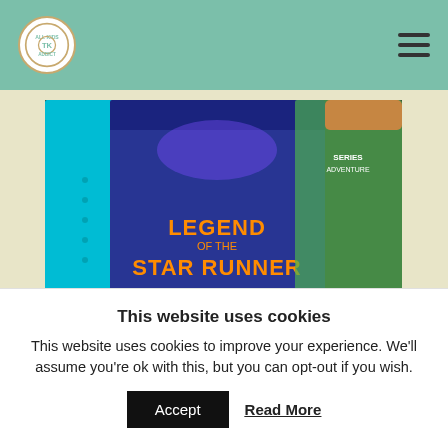All Kids Addict [logo] — hamburger menu
[Figure (photo): A photo showing books on a dark leather surface, including a book titled 'Legend of the Star Runner', alongside a teal/cyan colored spine. A hand is visible at the top right corner.]
And then, of course, there were the books themselves! Each Literati Kids box contains 5 age
This website uses cookies
This website uses cookies to improve your experience. We'll assume you're ok with this, but you can opt-out if you wish.
Accept   Read More